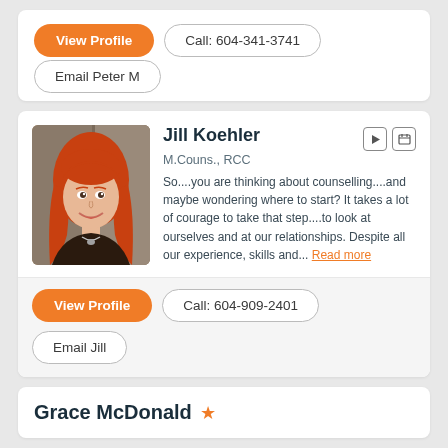View Profile | Call: 604-341-3741
Email Peter M
[Figure (photo): Profile photo of Jill Koehler, a woman with long red hair, smiling, wearing a dark top and necklace]
Jill Koehler
M.Couns., RCC
So....you are thinking about counselling....and maybe wondering where to start? It takes a lot of courage to take that step....to look at ourselves and at our relationships. Despite all our experience, skills and... Read more
View Profile | Call: 604-909-2401
Email Jill
Grace McDonald ★